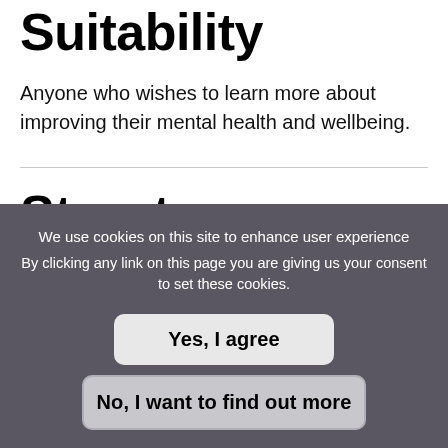Suitability
Anyone who wishes to learn more about improving their mental health and wellbeing.
Structure
We use cookies on this site to enhance user experience
By clicking any link on this page you are giving us your consent to set these cookies.
Yes, I agree
No, I want to find out more